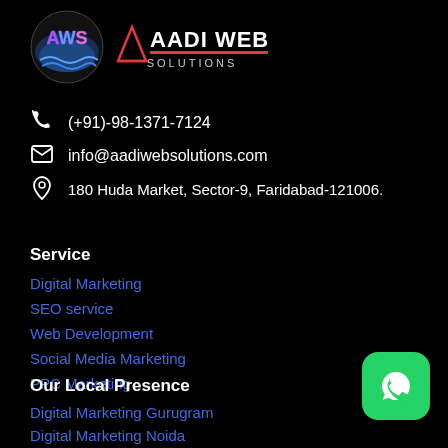[Figure (logo): Aadi Web Solutions logo with AWS circular badge and AADI WEB SOLUTIONS text with red underline]
(+91)-98-1371-7124
info@aadiwebsolutions.com
180 Huda Market, Sector-9, Faridabad-121006.
Service
Digital Marketing
SEO service
Web Development
Social Media Marketing
PPC Marketing
Our Local Presence
Digital Marketing Gurugram
Digital Marketing Noida
[Figure (logo): WhatsApp green rounded square button icon]